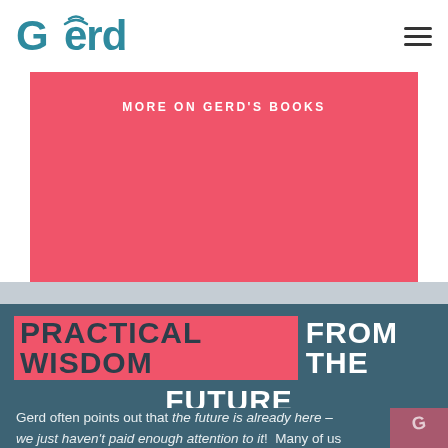Gerd
[Figure (screenshot): Pink button/banner with text MORE ON GERD'S BOOKS]
PRACTICAL WISDOM FROM THE FUTURE
Gerd often points out that the future is already here – we just haven't paid enough attention to it! Many of us are far too busy coping with present challenges to